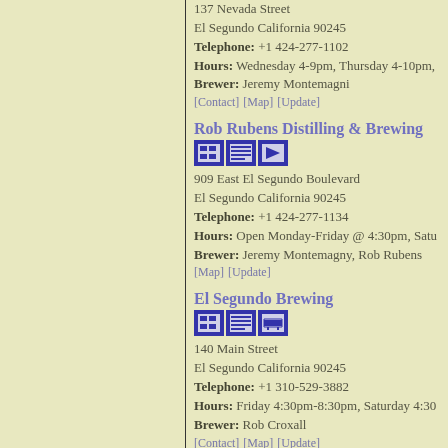137 Nevada Street
El Segundo California 90245
Telephone: +1 424-277-1102
Hours: Wednesday 4-9pm, Thursday 4-10pm,
Brewer: Jeremy Montemagni
[Contact] [Map] [Update]
Rob Rubens Distilling & Brewing
909 East El Segundo Boulevard
El Segundo California 90245
Telephone: +1 424-277-1134
Hours: Open Monday-Friday @ 4:30pm, Satur
Brewer: Jeremy Montemagny, Rob Rubens
[Map] [Update]
El Segundo Brewing
140 Main Street
El Segundo California 90245
Telephone: +1 310-529-3882
Hours: Friday 4:30pm-8:30pm, Saturday 4:30
Brewer: Rob Croxall
[Contact] [Map] [Update]
Far Field Beer Co
4471 West Rosecrans Avenue
Lawndale California 90250